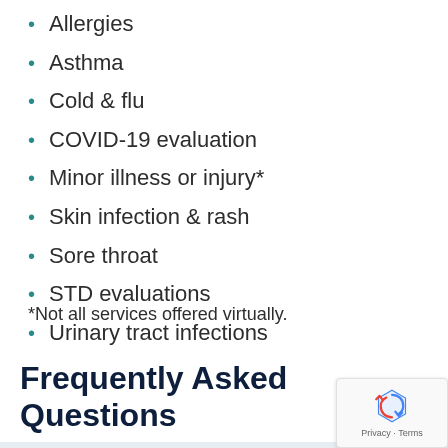Allergies
Asthma
Cold & flu
COVID-19 evaluation
Minor illness or injury*
Skin infection & rash
Sore throat
STD evaluations
Urinary tract infections
*Not all services offered virtually.
Frequently Asked Questions
How does a Virtual Urgent Care visit work?